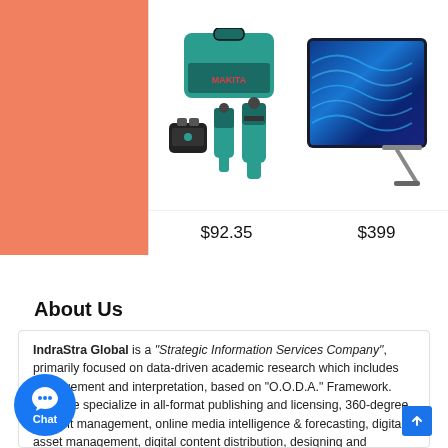[Figure (photo): Product listing showing a Makita cordless drill combo kit and a Microsoft Surface tablet, with prices $92.35 and $399 respectively. Left side has an orange/salmon colored sidebar.]
About Us
IndraStra Global is a "Strategic Information Services Company", primarily focused on data-driven academic research which includes management and interpretation, based on "O.O.D.A." Framework. Also, we specialize in all-format publishing and licensing, 360-degree content management, online media intelligence & forecasting, digital asset management, digital content distribution, designing and implementation of Integrated Library System (ILS) / Library